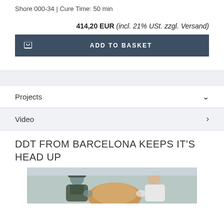Shore 000-34 | Cure Time: 50 min
414,20 EUR (incl. 21% USt. zzgl. Versand)
ADD TO BASKET
Projects
Video
DDT FROM BARCELONA KEEPS IT'S HEAD UP
[Figure (photo): Two people working in a workshop, one wearing a cap and dark jacket, one bald in a white coat, working on a sculpture or mold]